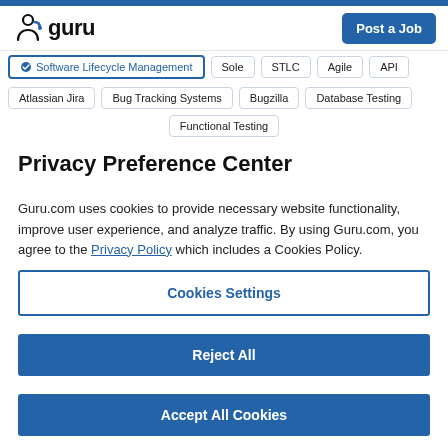guru.com — Post a Job
Software Lifecycle Management | Sole | STLC | Agile | API
Atlassian Jira | Bug Tracking Systems | Bugzilla | Database Testing
Functional Testing
Privacy Preference Center
Guru.com uses cookies to provide necessary website functionality, improve user experience, and analyze traffic. By using Guru.com, you agree to the Privacy Policy which includes a Cookies Policy.
Cookies Settings
Reject All
Accept All Cookies